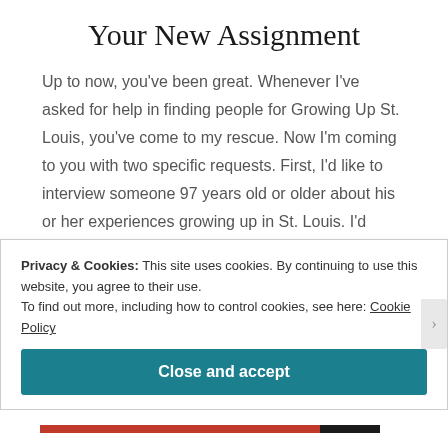Your New Assignment
Up to now, you've been great. Whenever I've asked for help in finding people for Growing Up St. Louis, you've come to my rescue. Now I'm coming to you with two specific requests. First, I'd like to interview someone 97 years old or older about his or her experiences growing up in St. Louis. I'd
Continue reading →
Privacy & Cookies: This site uses cookies. By continuing to use this website, you agree to their use.
To find out more, including how to control cookies, see here: Cookie Policy
Close and accept